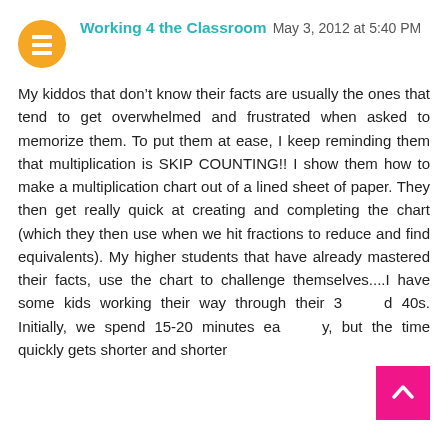Working 4 the Classroom  May 3, 2012 at 5:40 PM
My kiddos that don't know their facts are usually the ones that tend to get overwhelmed and frustrated when asked to memorize them. To put them at ease, I keep reminding them that multiplication is SKIP COUNTING!! I show them how to make a multiplication chart out of a lined sheet of paper. They then get really quick at creating and completing the chart (which they then use when we hit fractions to reduce and find equivalents). My higher students that have already mastered their facts, use the chart to challenge themselves....I have some kids working their way through their 30s and 40s. Initially, we spend 15-20 minutes each day, but the time quickly gets shorter and shorter